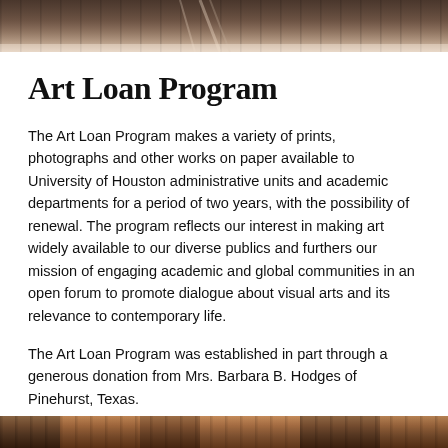[Figure (photo): Partial photograph of an interior architectural scene, showing wooden beams or ceiling elements in warm brown tones.]
Art Loan Program
The Art Loan Program makes a variety of prints, photographs and other works on paper available to University of Houston administrative units and academic departments for a period of two years, with the possibility of renewal. The program reflects our interest in making art widely available to our diverse publics and furthers our mission of engaging academic and global communities in an open forum to promote dialogue about visual arts and its relevance to contemporary life.
The Art Loan Program was established in part through a generous donation from Mrs. Barbara B. Hodges of Pinehurst, Texas.
READ MORE
[Figure (photo): Partial photograph at the bottom showing a warm-toned scene with reddish-brown colors.]